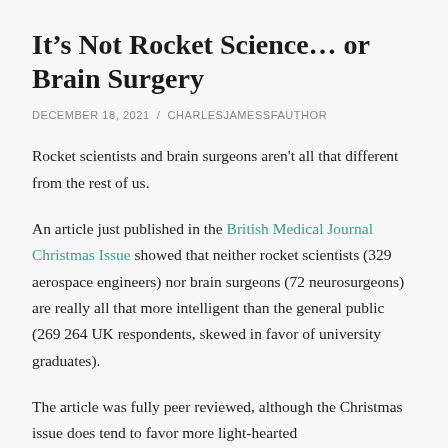It’s Not Rocket Science… or Brain Surgery
DECEMBER 18, 2021  /  CHARLESJAMESSFAUTHOR
Rocket scientists and brain surgeons aren't all that different from the rest of us.
An article just published in the British Medical Journal Christmas Issue showed that neither rocket scientists (329 aerospace engineers) nor brain surgeons (72 neurosurgeons) are really all that more intelligent than the general public (269 264 UK respondents, skewed in favor of university graduates).
The article was fully peer reviewed, although the Christmas issue does tend to favor more light-hearted